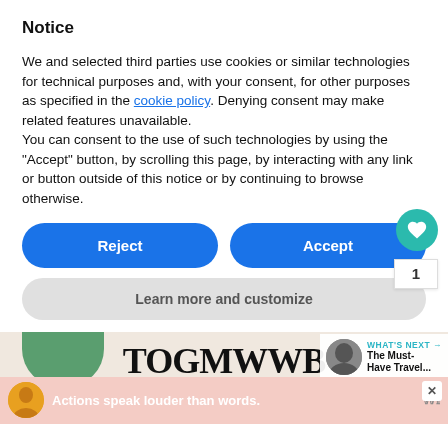Notice
We and selected third parties use cookies or similar technologies for technical purposes and, with your consent, for other purposes as specified in the cookie policy. Denying consent may make related features unavailable.
You can consent to the use of such technologies by using the “Accept” button, by scrolling this page, by interacting with any link or button outside of this notice or by continuing to browse otherwise.
[Figure (screenshot): Two blue pill-shaped buttons labeled Reject and Accept, a gray pill-shaped button labeled Learn more and customize, a teal heart icon button, a share icon button, and a count badge showing 1]
[Figure (screenshot): Bottom section showing partial magazine cover with green shape and large bold text TOGMWWB, a thumbnail with WHAT'S NEXT arrow and The Must-Have Travel... text, and a pink advertisement bar with Actions speak louder than words.]